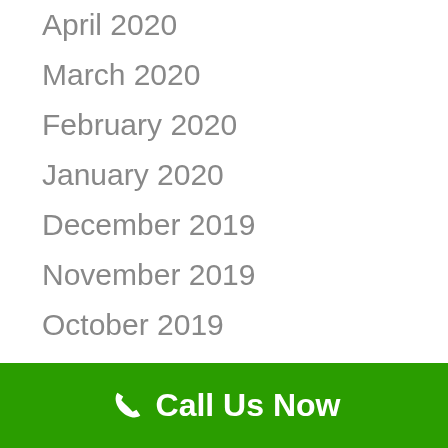April 2020
March 2020
February 2020
January 2020
December 2019
November 2019
October 2019
September 2019
August 2019
Call Us Now